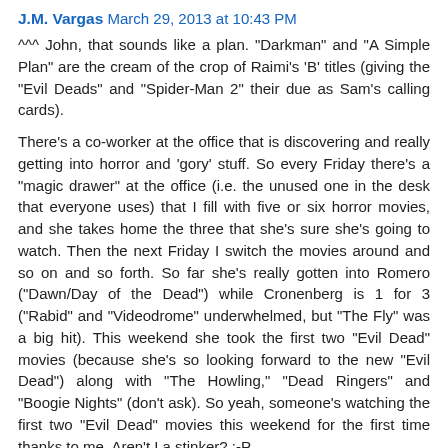J.M. Vargas March 29, 2013 at 10:43 PM
^^^ John, that sounds like a plan. "Darkman" and "A Simple Plan" are the cream of the crop of Raimi's 'B' titles (giving the "Evil Deads" and "Spider-Man 2" their due as Sam's calling cards).
There's a co-worker at the office that is discovering and really getting into horror and 'gory' stuff. So every Friday there's a "magic drawer" at the office (i.e. the unused one in the desk that everyone uses) that I fill with five or six horror movies, and she takes home the three that she's sure she's going to watch. Then the next Friday I switch the movies around and so on and so forth. So far she's really gotten into Romero ("Dawn/Day of the Dead") while Cronenberg is 1 for 3 ("Rabid" and "Videodrome" underwhelmed, but "The Fly" was a big hit). This weekend she took the first two "Evil Dead" movies (because she's so looking forward to the new "Evil Dead") along with "The Howling," "Dead Ringers" and "Boogie Nights" (don't ask). So yeah, someone's watching the first two "Evil Dead" movies this weekend for the first time thanks to me. Aren't I a stinker? :-P